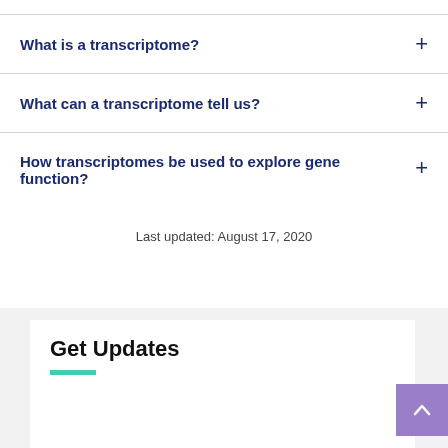What is a transcriptome?
What can a transcriptome tell us?
How transcriptomes be used to explore gene function?
Last updated: August 17, 2020
Get Updates